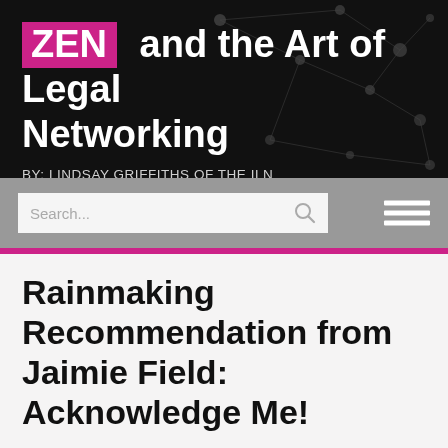ZEN and the Art of Legal Networking — BY: LINDSAY GRIFFITHS OF THE ILN
[Figure (screenshot): Search bar with placeholder text 'Search...' and magnifying glass icon, plus hamburger menu icon on the right, on a grey background]
Rainmaking Recommendation from Jaimie Field: Acknowledge Me!
By Lindsay Griffiths on February 15, 2012